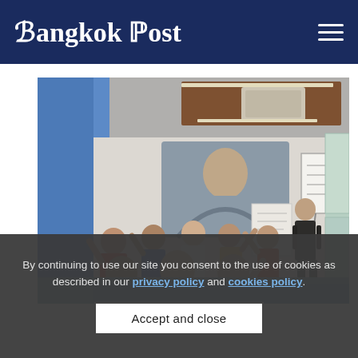Bangkok Post
[Figure (photo): Indoor classroom or workshop scene: a group of people seated on the floor with their hands raised, facing a presenter/instructor in black standing at a flip chart. A large projected image of a person is visible on a screen in the background. The room has wooden ceiling panels, a blue accent wall, and large windows with natural light.]
By continuing to use our site you consent to the use of cookies as described in our privacy policy and cookies policy.
Accept and close